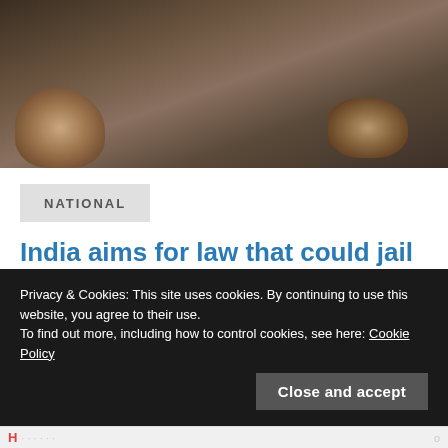[Figure (photo): A person in dark clothing seated on a couch, torso and hands visible, wearing a ring on one hand]
NATIONAL
India aims for law that could jail Muslim men who use ‘triple talaq’ to divorce wives
ON DECEMBER 28, 2017 • ( LEAVE A COMMENT )
Privacy & Cookies: This site uses cookies. By continuing to use this website, you agree to their use.
To find out more, including how to control cookies, see here: Cookie Policy
Close and accept